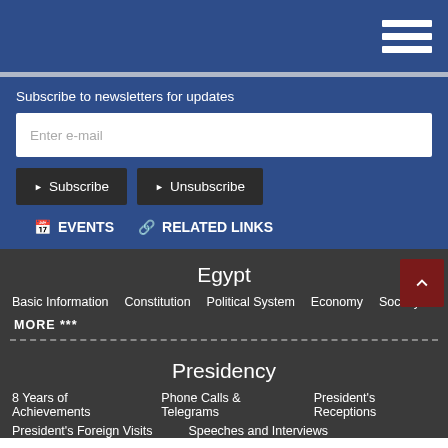[Figure (screenshot): Navigation hamburger menu icon (three white horizontal lines) on dark blue header bar]
Subscribe to newsletters for updates
Enter e-mail
Subscribe
Unsubscribe
EVENTS
RELATED LINKS
Egypt
Basic Information
Constitution
Political System
Economy
Society
MORE ***
Presidency
8 Years of Achievements
Phone Calls & Telegrams
President's Receptions
President's Foreign Visits
Speeches and Interviews